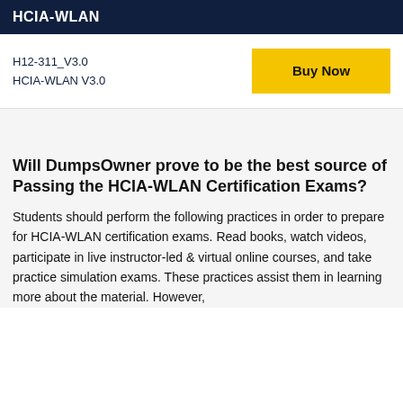HCIA-WLAN
H12-311_V3.0
HCIA-WLAN V3.0
Will DumpsOwner prove to be the best source of Passing the HCIA-WLAN Certification Exams?
Students should perform the following practices in order to prepare for HCIA-WLAN certification exams. Read books, watch videos, participate in live instructor-led & virtual online courses, and take practice simulation exams. These practices assist them in learning more about the material. However,